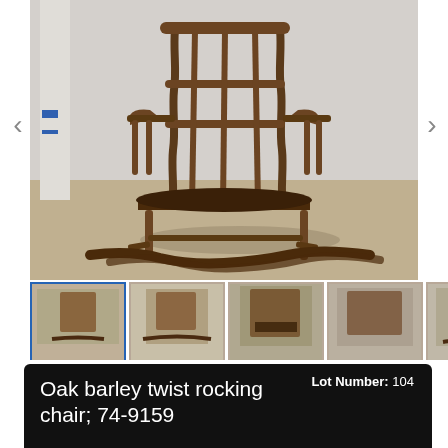[Figure (photo): Antique oak barley twist rocking chair with dark leather seat, twisted wooden spindles and rockers, photographed against a white draped background]
[Figure (photo): Thumbnail row showing 6 views of the oak barley twist rocking chair from different angles]
Oak barley twist rocking chair; 74-9159
Lot Number: 104
Completed
Start Time: 5/6/2022 8:00:00 PM